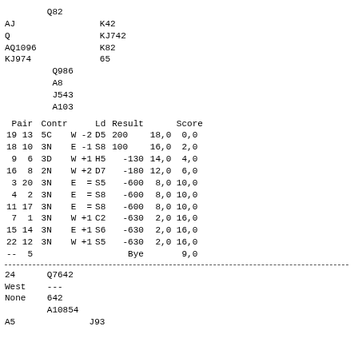Q82
AJ        K42
Q         KJ742
AQ1096    K82
KJ974     65
     Q986
     A8
     J543
     A103
| Pair | Contr |  | Ld | Result | Score |
| --- | --- | --- | --- | --- | --- |
| 19 13 | 5C | W -2 | D5 | 200 | 18,0  0,0 |
| 18 10 | 3N | E -1 | S8 | 100 | 16,0  2,0 |
|  9  6 | 3D | W +1 | H5 | -130 | 14,0  4,0 |
| 16  8 | 2N | W +2 | D7 | -180 | 12,0  6,0 |
|  3 20 | 3N | E  = | S5 | -600 |  8,0 10,0 |
|  4  2 | 3N | E  = | S8 | -600 |  8,0 10,0 |
| 11 17 | 3N | E  = | S8 | -600 |  8,0 10,0 |
|  7  1 | 3N | W +1 | C2 | -630 |  2,0 16,0 |
| 15 14 | 3N | E +1 | S6 | -630 |  2,0 16,0 |
| 22 12 | 3N | W +1 | S5 | -630 |  2,0 16,0 |
| --  5 |  |  |  | Bye |      9,0 |
24    Q7642
West  ---
None  642
      A10854
A5          J93